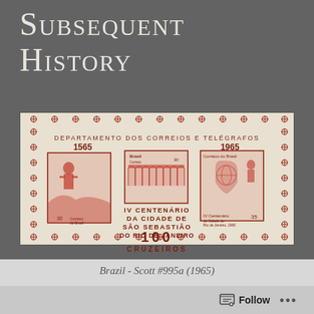Subsequent History
[Figure (photo): Brazilian postage stamp souvenir sheet from 1965. Shows DEPARTAMENTO DOS CORREIOS E TELÉGRAFOS, years 1565 and 1965, three stamps depicting Rio de Janeiro 400th anniversary imagery, text IV CENTENÁRIO DA CIDADE DE SÃO SEBASTIÃO DO RIO DE JANEIRO, 100 CRUZEIROS, featuring decorative cross/diamond border pattern. Printed in red/brown tones on cream background.]
Brazil - Scott #995a (1965)